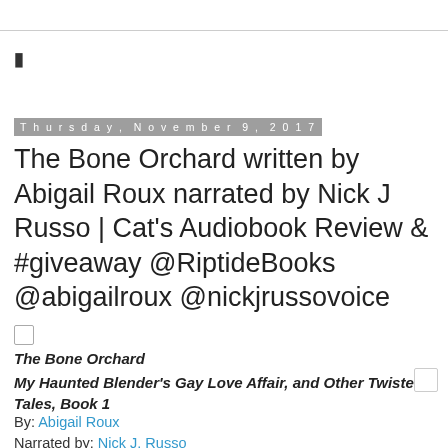|
Thursday, November 9, 2017
The Bone Orchard written by Abigail Roux narrated by Nick J Russo | Cat's Audiobook Review & #giveaway @RiptideBooks @abigailroux @nickjrussovoice
The Bone Orchard
My Haunted Blender's Gay Love Affair, and Other Twisted Tales, Book 1
By: Abigail Roux
Narrated by: Nick J. Russo